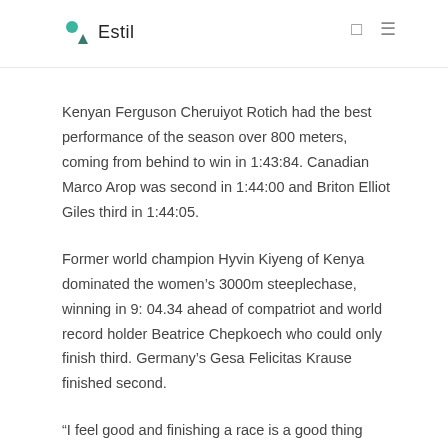Estil
Kenyan Ferguson Cheruiyot Rotich had the best performance of the season over 800 meters, coming from behind to win in 1:43:84. Canadian Marco Arop was second in 1:44:00 and Briton Elliot Giles third in 1:44:05.
Former world champion Hyvin Kiyeng of Kenya dominated the women's 3000m steeplechase, winning in 9: 04.34 ahead of compatriot and world record holder Beatrice Chepkoech who could only finish third. Germany's Gesa Felicitas Krause finished second.
“I feel good and finishing a race is a good thing